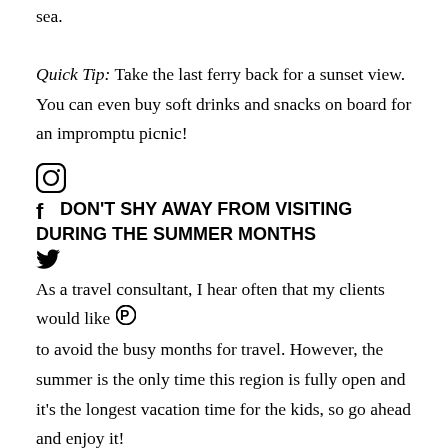sea.
Quick Tip: Take the last ferry back for a sunset view. You can even buy soft drinks and snacks on board for an impromptu picnic!
5. DON'T SHY AWAY FROM VISITING DURING THE SUMMER MONTHS
As a travel consultant, I hear often that my clients would like to avoid the busy months for travel. However, the summer is the only time this region is fully open and it's the longest vacation time for the kids, so go ahead and enjoy it!
If you are worried about hitting the crowds, simply contact a travel expert like myself or book at least seven months in